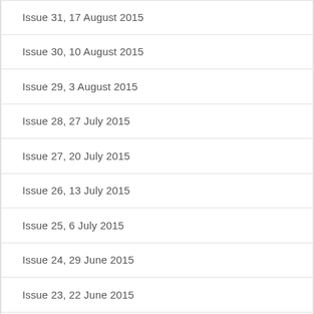Issue 31, 17 August 2015
Issue 30, 10 August 2015
Issue 29, 3 August 2015
Issue 28, 27 July 2015
Issue 27, 20 July 2015
Issue 26, 13 July 2015
Issue 25, 6 July 2015
Issue 24, 29 June 2015
Issue 23, 22 June 2015